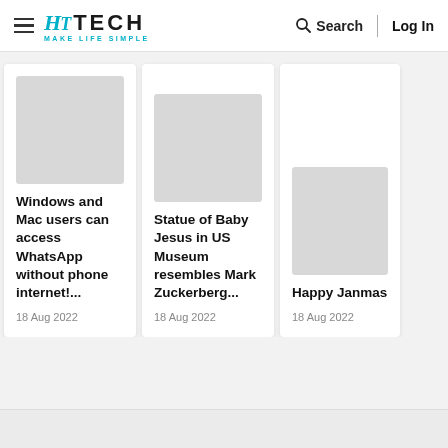HT TECH — MAKE LIFE SIMPLE | Search | Log In
Windows and Mac users can access WhatsApp without phone internet!... | 18 Aug 2022
Statue of Baby Jesus in US Museum resembles Mark Zuckerberg... | 18 Aug 2022
Happy Janmashtami 2... How to Downlo... send WhatsAp... Stick... | 18 Aug 2022